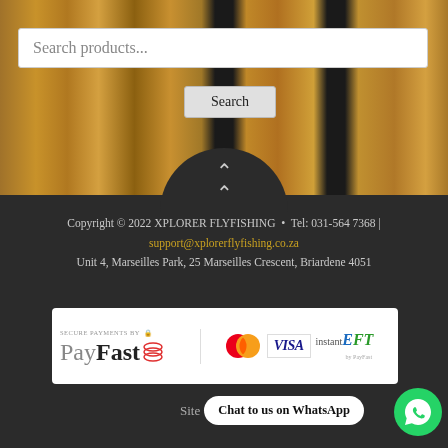[Figure (screenshot): Website screenshot showing a search bar with placeholder text 'Search products...' and a Search button, over a wooden plank background. Below is a dark footer section.]
Search products...
Search
Copyright © 2022 XPLORER FLYFISHING • Tel: 031-564 7368 | support@xplorerflyfishing.co.za
Unit 4, Marseilles Park, 25 Marseilles Crescent, Briardene 4051
[Figure (logo): Payment methods banner showing PayFast logo with Mastercard, VISA, and instantEFT logos]
Site
Chat to us on WhatsApp